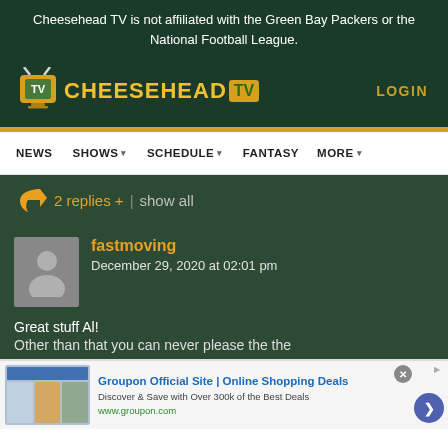Cheesehead TV is not affiliated with the Green Bay Packers or the National Football League.
[Figure (logo): Cheesehead TV logo with yellow text and TV icon]
LOGIN
NEWS  SHOWS ▾  SCHEDULE ▾  FANTASY  MORE ▾
2 replies +  | show all
fastmoving
December 29, 2020 at 02:01 pm
Great stuff Al!
Other than that you can never please the the
[Figure (infographic): Groupon advertisement banner: Groupon Official Site | Online Shopping Deals. Discover & Save with Over 300k of the Best Deals. www.groupon.com]